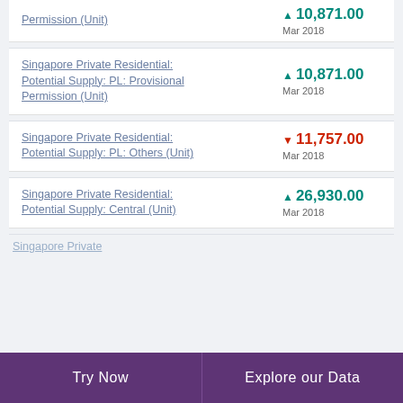Permission (Unit) — value: 10,871.00 ▲, Mar 2018 (partial, top cut off)
Singapore Private Residential: Potential Supply: PL: Provisional Permission (Unit) — ▲ 10,871.00, Mar 2018
Singapore Private Residential: Potential Supply: PL: Others (Unit) — ▼ 11,757.00, Mar 2018
Singapore Private Residential: Potential Supply: Central (Unit) — ▲ 26,930.00, Mar 2018
Singapore Private (partial, bottom cut off)
Try Now   Explore our Data